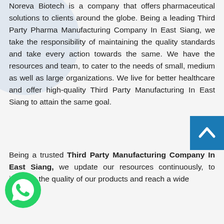Noreva Biotech is a company that offers pharmaceutical solutions to clients around the globe. Being a leading Third Party Pharma Manufacturing Company In East Siang, we take the responsibility of maintaining the quality standards and take every action towards the same. We have the resources and team, to cater to the needs of small, medium as well as large organizations. We live for better healthcare and offer high-quality Third Party Manufacturing In East Siang to attain the same goal.
[Figure (other): Blue scroll-to-top button with upward chevron arrow]
Being a trusted Third Party Manufacturing Company In East Siang, we update our resources continuously, to improve the quality of our products and reach a wide
[Figure (other): WhatsApp icon button (green circle with phone handset)]